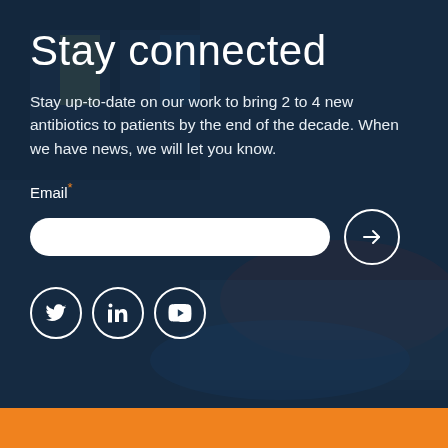Stay connected
Stay up-to-date on our work to bring 2 to 4 new antibiotics to patients by the end of the decade. When we have news, we will let you know.
Email*
[Figure (other): Email input form with rounded white text field and circular arrow submit button, followed by social media icons for Twitter, LinkedIn, and YouTube]
Orange bar footer